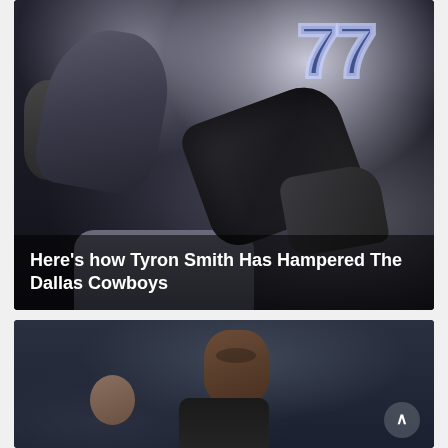[Figure (photo): Dallas Cowboys football player #77 (Tyron Smith) on the sideline, being attended to, with equipment and gloves visible. Dark, dramatic sports photography.]
Here's how Tyron Smith Has Hampered The Dallas Cowboys
[Figure (photo): Basketball player (Kevin Durant) in dark jersey on the court, with another player visible in the foreground. Arena background is dark and blurred.]